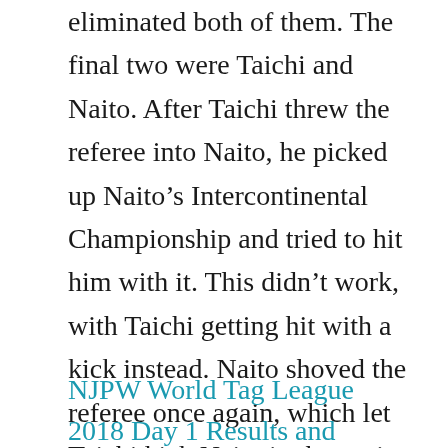eliminated both of them. The final two were Taichi and Naito. After Taichi threw the referee into Naito, he picked up Naito’s Intercontinental Championship and tried to hit him with it. This didn’t work, with Taichi getting hit with a kick instead. Naito shoved the referee once again, which let Taichi kick Naito in the groin. Naito was thrown over onto the apron and given a kick which nearly eliminated him. Another kick gave Taichi and his team the win. The kick felt sort of lame but I liked this finish. The match was way too long, especially at the start, but not horrible. Taichi cut a promo after the match.
NJPW World Tag League 2018 Day 1 Results and Review